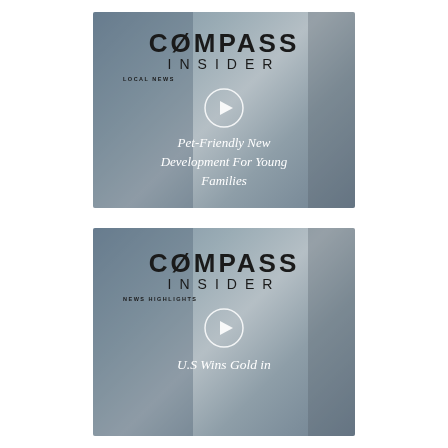[Figure (screenshot): Compass Insider video thumbnail with LOCAL NEWS tag and play button overlay on a room photo background. Title text: Pet-Friendly New Development For Young Families]
[Figure (screenshot): Compass Insider video thumbnail with NEWS HIGHLIGHTS tag and play button overlay on a room photo background. Title text: U.S Wins Gold in]